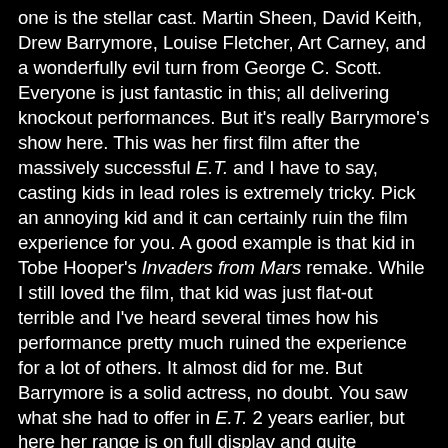one is the stellar cast. Martin Sheen, David Keith, Drew Barrymore, Louise Fletcher, Art Carney, and a wonderfully evil turn from George C. Scott. Everyone is just fantastic in this; all delivering knockout performances. But it's really Barrymore's show here. This was her first film after the massively successful E.T. and I have to say, casting kids in lead roles is extremely tricky. Pick an annoying kid and it can certainly ruin the film experience for you. A good example is that kid in Tobe Hooper's Invaders from Mars remake. While I still loved the film, that kid was just flat-out terrible and I've heard several times how his performance pretty much ruined the experience for a lot of others. It almost did for me. But Barrymore is a solid actress, no doubt. You saw what she had to offer in E.T. 2 years earlier, but here her range is on full display and quite honestly, she's one of the best child actors I've ever seen.
I really liked this film. It starts off strong, and ends with a bang. Director Mark L. Lester's restrained camerawork feeds into the films overall early 80's aesthetic, keeping things simple, yet effective. It works remarkably well. Take into consideration that this is an early 80's production, and you